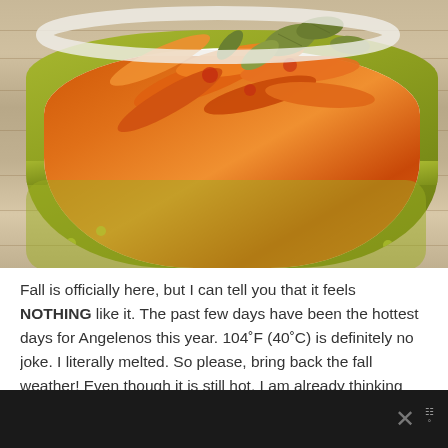[Figure (photo): A green polka-dot ceramic pot filled with roasted carrots and sage leaves, sitting on a wooden surface.]
Fall is officially here, but I can tell you that it feels NOTHING like it. The past few days have been the hottest days for Angelenos this year. 104˚F (40˚C) is definitely no joke. I literally melted. So please, bring back the fall weather! Even though it is still hot, I am already thinking ahead. Apple...